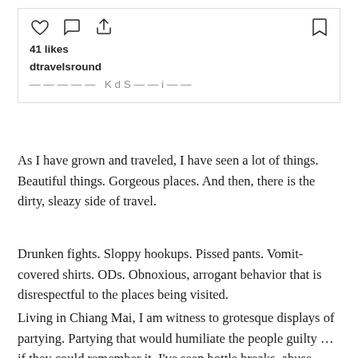[Figure (screenshot): Instagram post card showing action icons (heart, comment, share, bookmark), 41 likes, username dtravelsround, and a truncated caption line]
As I have grown and traveled, I have seen a lot of things. Beautiful things. Gorgeous places. And then, there is the dirty, sleazy side of travel.
Drunken fights. Sloppy hookups. Pissed pants. Vomit-covered shirts. ODs. Obnoxious, arrogant behavior that is disrespectful to the places being visited.
Living in Chiang Mai, I am witness to grotesque displays of partying. Partying that would humiliate the people guilty … if they could remember it. I've seen bottle breaks, abuse, falling-over-drunk people who think nothing of it. Let me say this: it gives the entire lot of